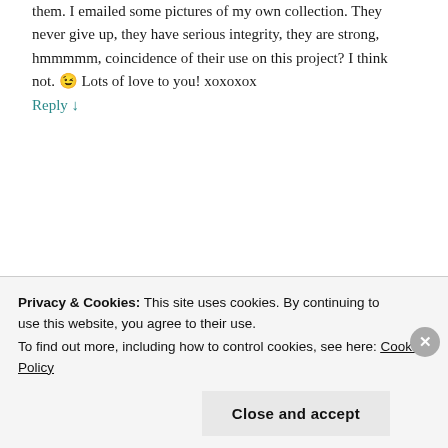them. I emailed some pictures of my own collection. They never give up, they have serious integrity, they are strong, hmmmmm, coincidence of their use on this project? I think not. 😉 Lots of love to you! xoxoxox
Reply ↓
edonnalley said:
[Figure (photo): Circular avatar photo of a person]
Thanks for your ongoing support of all my creative endeavors and for your friendship. Even a traveling girl needs friends from back home. Miss you xxx
Privacy & Cookies: This site uses cookies. By continuing to use this website, you agree to their use. To find out more, including how to control cookies, see here: Cookie Policy
Close and accept